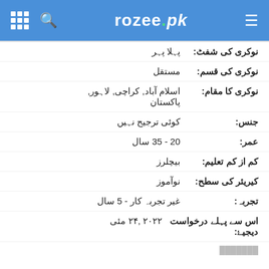rozee.pk
نوکری کی شفٹ: پہلا پہر
نوکری کی قسم: مستقل
نوکری کا مقام: اسلام آباد, کراچی, لاہور, پاکستان
جنس: کوئی ترجیح نہیں
عمر: 20 - 35 سال
کم از کم تعلیم: بیچلرز
کیریئر کی سطح: نوآموز
تجربہ: غیر تجربہ کار - 5 سال
اس سے پہلے درخواست دیجیۓ: ۲۰۲۲ ,۲۴ مئی